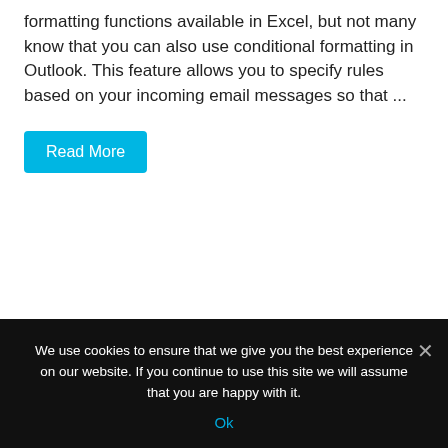formatting functions available in Excel, but not many know that you can also use conditional formatting in Outlook. This feature allows you to specify rules based on your incoming email messages so that ...
Read More
We use cookies to ensure that we give you the best experience on our website. If you continue to use this site we will assume that you are happy with it.
Ok